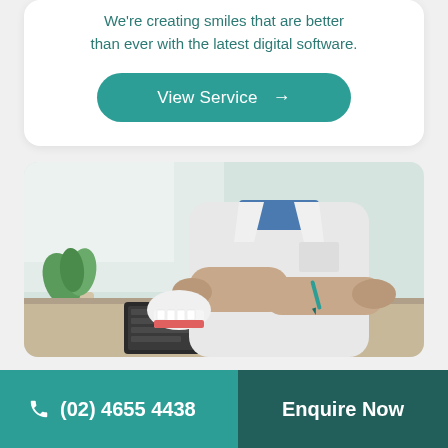We're creating smiles that are better than ever with the latest digital software.
View Service →
[Figure (photo): Dentist in white lab coat sitting at a desk holding a dental jaw model in one hand and a pen in the other, with a keyboard and plant visible on the desk, bright window in background.]
(02) 4655 4438
Enquire Now